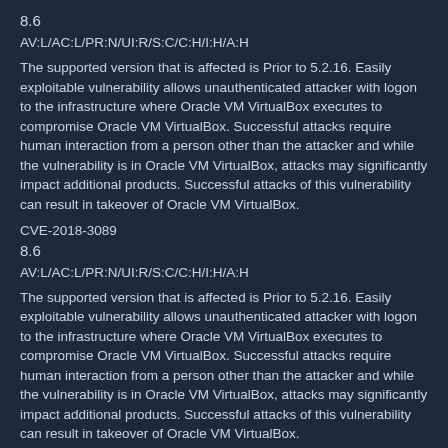8.6
AV:L/AC:L/PR:N/UI:R/S:C/C:H/I:H/A:H
The supported version that is affected is Prior to 5.2.16. Easily exploitable vulnerability allows unauthenticated attacker with logon to the infrastructure where Oracle VM VirtualBox executes to compromise Oracle VM VirtualBox. Successful attacks require human interaction from a person other than the attacker and while the vulnerability is in Oracle VM VirtualBox, attacks may significantly impact additional products. Successful attacks of this vulnerability can result in takeover of Oracle VM VirtualBox.
CVE-2018-3089
8.6
AV:L/AC:L/PR:N/UI:R/S:C/C:H/I:H/A:H
The supported version that is affected is Prior to 5.2.16. Easily exploitable vulnerability allows unauthenticated attacker with logon to the infrastructure where Oracle VM VirtualBox executes to compromise Oracle VM VirtualBox. Successful attacks require human interaction from a person other than the attacker and while the vulnerability is in Oracle VM VirtualBox, attacks may significantly impact additional products. Successful attacks of this vulnerability can result in takeover of Oracle VM VirtualBox.